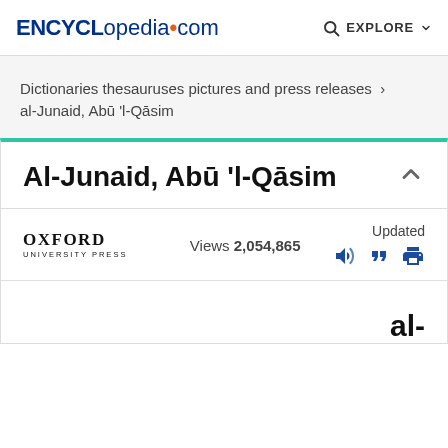ENCYCLopedia•com  EXPLORE
Dictionaries thesauruses pictures and press releases › al-Junaid, Abū 'l-Qāsim
Al-Junaid, Abū 'l-Qāsim
OXFORD UNIVERSITY PRESS  Views 2,054,865  Updated
al-